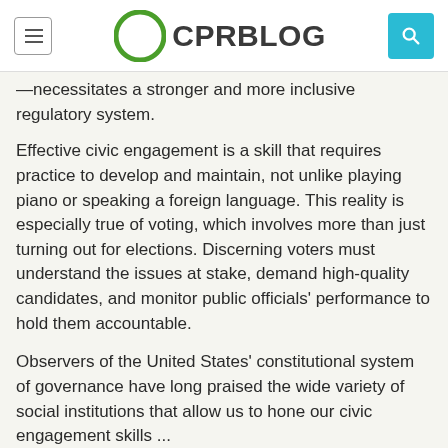CPRBLOG
—necessitates a stronger and more inclusive regulatory system.
Effective civic engagement is a skill that requires practice to develop and maintain, not unlike playing piano or speaking a foreign language. This reality is especially true of voting, which involves more than just turning out for elections. Discerning voters must understand the issues at stake, demand high-quality candidates, and monitor public officials' performance to hold them accountable.
Observers of the United States' constitutional system of governance have long praised the wide variety of social institutions that allow us to hone our civic engagement skills ...